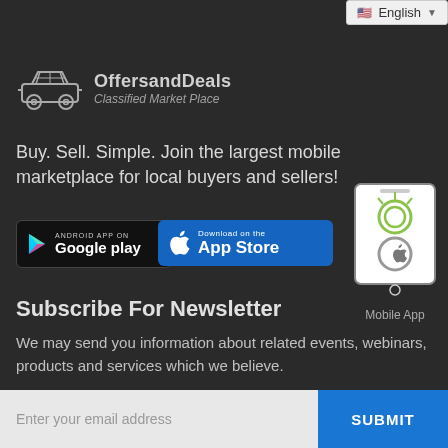[Figure (screenshot): Language selector dropdown showing English with US flag]
[Figure (logo): OffersandDeals Classified Market Place logo with car icon]
Buy. Sell. Simple. Join the largest mobile marketplace for local buyers and sellers!
[Figure (infographic): Google Play and App Store download buttons with mobile phone illustration showing Android and Apple icons]
Subscribe For Newsletter
We may send you information about related events, webinars, products and services which we believe.
[Figure (other): Email subscription input field with Enter your email address placeholder and SUBMIT button]